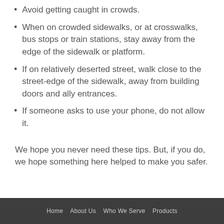Avoid getting caught in crowds.
When on crowded sidewalks, or at crosswalks, bus stops or train stations, stay away from the edge of the sidewalk or platform.
If on relatively deserted street, walk close to the street-edge of the sidewalk, away from building doors and ally entrances.
If someone asks to use your phone, do not allow it.
We hope you never need these tips. But, if you do, we hope something here helped to make you safer.
Home   About Us   Who We Serve   Products